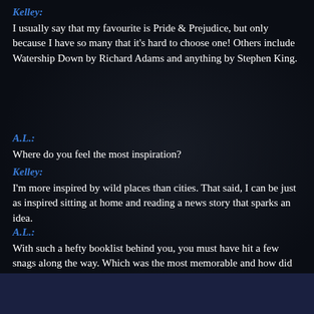Kelley:
I usually say that my favourite is Pride & Prejudice, but only because I have so many that it's hard to choose one! Others include Watership Down by Richard Adams and anything by Stephen King.
A.L.:
Where do you feel the most inspiration?
Kelley:
I'm more inspired by wild places than cities. That said, I can be just as inspired sitting at home and reading a news story that sparks an idea.
A.L.:
With such a hefty booklist behind you, you must have hit a few snags along the way. Which was the most memorable and how did you fix it?
Kelley:
Starting a new series is always tough. It's tempting to ride a